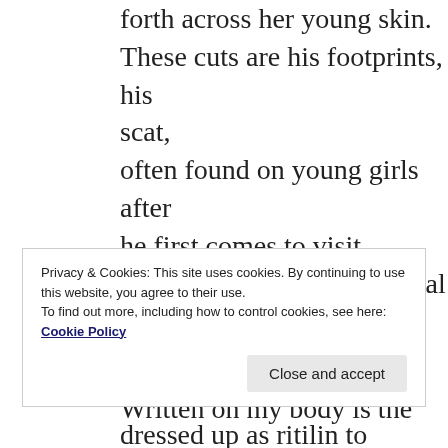forth across her young skin.
These cuts are his footprints, his scat,
often found on young girls after he first comes to visit.
He comes in legal and illegal guises.
He can sweep in the front door dressed up as ritilin to vanquish ADD,
Privacy & Cookies: This site uses cookies. By continuing to use this website, you agree to their use.
To find out more, including how to control cookies, see here: Cookie Policy
Written on my body is the